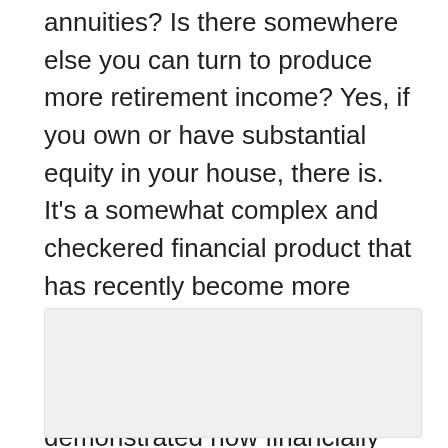annuities? Is there somewhere else you can turn to produce more retirement income? Yes, if you own or have substantial equity in your house, there is. It's a somewhat complex and checkered financial product that has recently become more palatable. As noted retirement researcher Wade Pfau writes, “…recent research has demonstrated how financially responsible individuals can improve their retirement sustainability with a reverse mortgage.”
[Figure (other): Blank or partially visible image placeholder at the bottom of the page]